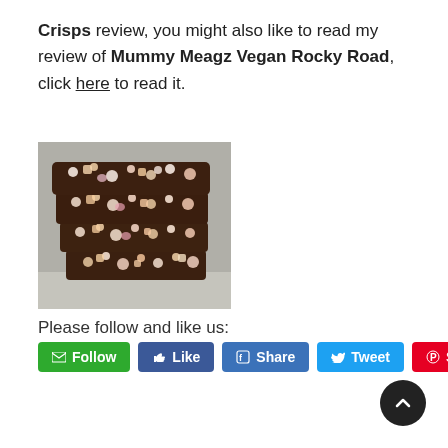Crisps review, you might also like to read my review of Mummy Meagz Vegan Rocky Road, click here to read it.
[Figure (photo): Stack of four pieces of chocolate rocky road with marshmallows and biscuit pieces visible, photographed on a grey surface.]
Please follow and like us: